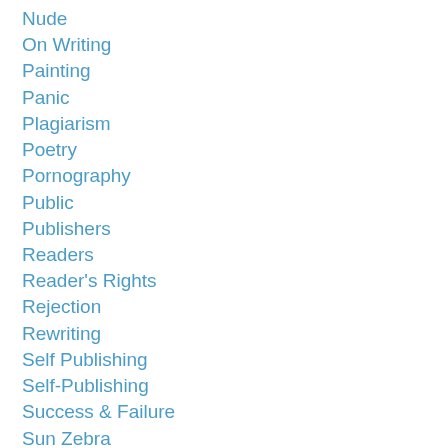Nude
On Writing
Painting
Panic
Plagiarism
Poetry
Pornography
Public
Publishers
Readers
Reader's Rights
Rejection
Rewriting
Self Publishing
Self-Publishing
Success & Failure
Sun Zebra
The Word
Trouble
Vanity